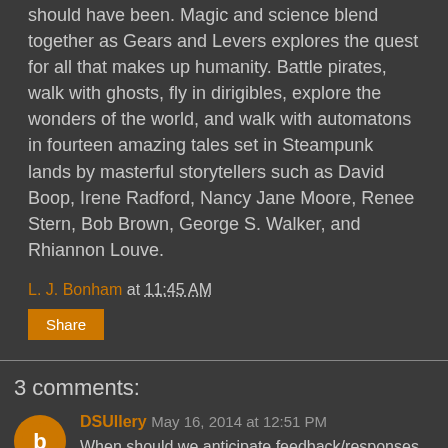should have been. Magic and science blend together as Gears and Levers explores the quest for all that makes up humanity. Battle pirates, walk with ghosts, fly in dirigibles, explore the wonders of the world, and walk with automatons in fourteen amazing tales set in Steampunk lands by masterful storytellers such as David Boop, Irene Radford, Nancy Jane Moore, Renee Stern, Bob Brown, George S. Walker, and Rhiannon Louve.
L. J. Bonham at 11:45 AM
Share
3 comments:
DSUllery May 16, 2014 at 12:51 PM
When should we anticipate feedback/responses concerning the Zombified II anthology now that the deadline has come and gone?
Reply